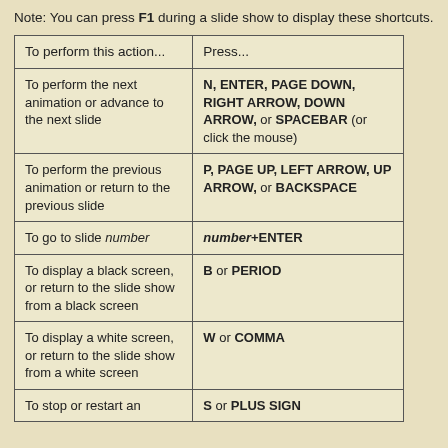Note: You can press F1 during a slide show to display these shortcuts.
| To perform this action... | Press... |
| --- | --- |
| To perform the next animation or advance to the next slide | N, ENTER, PAGE DOWN, RIGHT ARROW, DOWN ARROW, or SPACEBAR (or click the mouse) |
| To perform the previous animation or return to the previous slide | P, PAGE UP, LEFT ARROW, UP ARROW, or BACKSPACE |
| To go to slide number | number+ENTER |
| To display a black screen, or return to the slide show from a black screen | B or PERIOD |
| To display a white screen, or return to the slide show from a white screen | W or COMMA |
| To stop or restart an | S or PLUS SIGN |